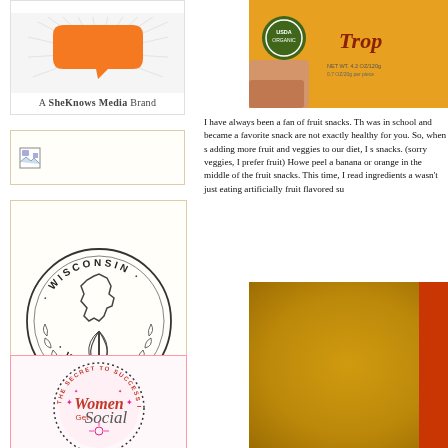[Figure (logo): SheKnows Media brand logo with orange speech bubble and radiating lines. Text reads 'A SheKnows Media Brand']
[Figure (photo): Broken image placeholder icon]
[Figure (logo): Wisconsin Whisk circular logo with state outline and whisk illustration, surrounded by laurel wreath]
[Figure (logo): Women Get Social circular badge with dotted border, pink text, sparkle stars, tagline 'The Secret to Success is Support']
[Figure (photo): Photo of Tropicana fruit snack box with USDA organic seal, orange and yellow packaging, net wt 4.2oz/120g]
I have always been a fan of fruit snacks. Th was in school and became a favorite snack are not exactly healthy for you. So, when s adding more fruit and veggies to our diet, I s snacks. (sorry veggies, I prefer fruit) Howe peel a banana or orange in the middle of the fruit snacks. This time, I read ingredients a wasn't just eating artificially fruit flavored su
[Figure (photo): Blurred close-up photo of orange/yellow packaging with red label, appears to be fruit snack product]